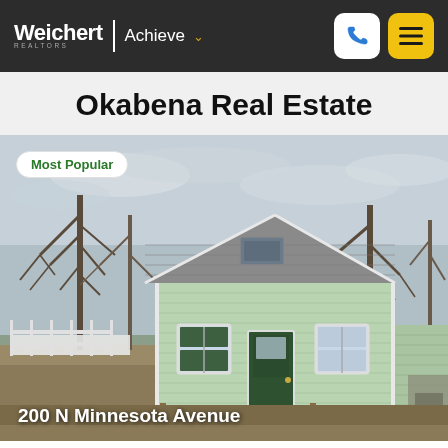Weichert | Achieve
Okabena Real Estate
[Figure (photo): Exterior photo of a small light-green single-story house with a grey asphalt shingle roof, green front door, two windows, a wooden deck/steps at the front, bare winter trees on both sides, blue-grey cloudy sky, and a dirt/grass yard. White fence visible on the left.]
200 N Minnesota Avenue